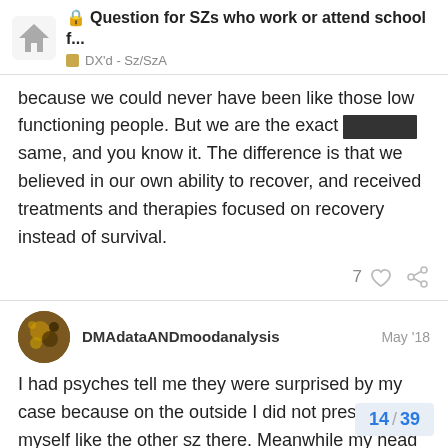Question for SZs who work or attend school f... | DX'd - Sz/SzA
because we could never have been like those low functioning people. But we are the exact ███████ same, and you know it. The difference is that we believed in our own ability to recover, and received treatments and therapies focused on recovery instead of survival.
7 likes
DMAdataANDmoodanalysis  May '18
I had psyches tell me they were surprised by my case because on the outside I did not present myself like the other sz there. Meanwhile my head was ramming and jamming with sz. At the time I was at the worst levels I was ever at. Hehe.
14 / 39